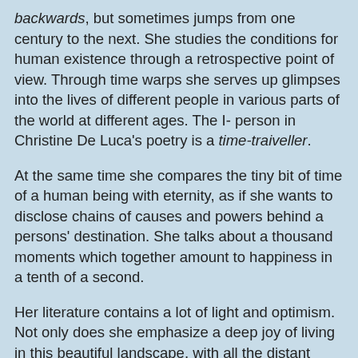backwards, but sometimes jumps from one century to the next. She studies the conditions for human existence through a retrospective point of view. Through time warps she serves up glimpses into the lives of different people in various parts of the world at different ages. The I- person in Christine De Luca's poetry is a time-traiveller.
At the same time she compares the tiny bit of time of a human being with eternity, as if she wants to disclose chains of causes and powers behind a persons' destination. She talks about a thousand moments which together amount to happiness in a tenth of a second.
Her literature contains a lot of light and optimism. Not only does she emphasize a deep joy of living in this beautiful landscape, with all the distant islands and diverse profiles viewed from land (the author reveals exceptional love for the island of Foula). Primarily, her texts radiate a strong humanism. The human beings can show deep generosity and have sincere concern for each other in spite of material poverty. However, here is also tristesse as well as feelings of sadness, as we can read in her elegies over parents and